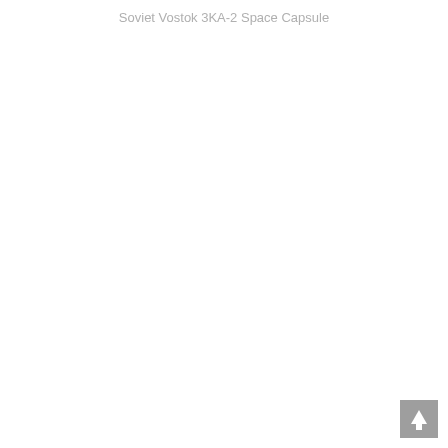Soviet Vostok 3KA-2 Space Capsule
[Figure (other): Back-to-top navigation button: a grey square with a white upward-pointing arrow in the bottom-right corner of the page.]